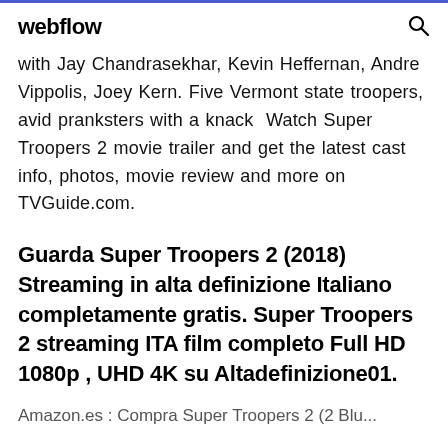webflow
with Jay Chandrasekhar, Kevin Heffernan, Andre Vippolis, Joey Kern. Five Vermont state troopers, avid pranksters with a knack  Watch Super Troopers 2 movie trailer and get the latest cast info, photos, movie review and more on TVGuide.com.
Guarda Super Troopers 2 (2018) Streaming in alta definizione Italiano completamente gratis. Super Troopers 2 streaming ITA film completo Full HD 1080p , UHD 4K su Altadefinizione01.
Amazon.es : Compra Super Troopers 2 (2 Blu...